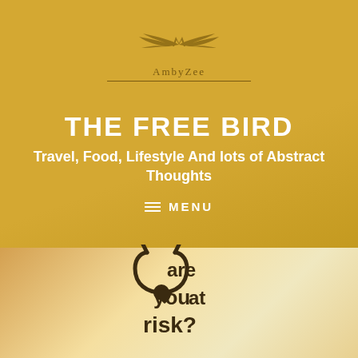[Figure (logo): AmbyZee logo with golden wings and text 'AmbyZee' with decorative line]
THE FREE BIRD
Travel, Food, Lifestyle And lots of Abstract Thoughts
≡ MENU
[Figure (illustration): Decorative text illustration reading 'are you at risk?' with a stethoscope forming the letter 'd' and a heart symbol]